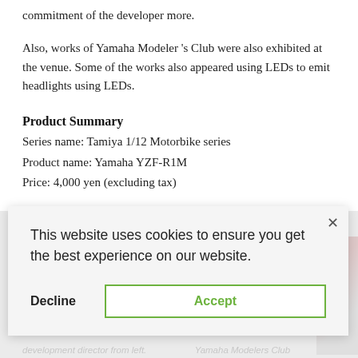commitment of the developer more.
Also, works of Yamaha Modeler 's Club were also exhibited at the venue. Some of the works also appeared using LEDs to emit headlights using LEDs.
Product Summary
Series name: Tamiya 1/12 Motorbike series
Product name: Yamaha YZF-R1M
Price: 4,000 yen (excluding tax)
This website uses cookies to ensure you get the best experience on our website.
Decline  Accept
[Figure (photo): Partial photo strip visible at right side, showing a motorcycle or related image.]
development director from left.          Yamaha Modelers Club